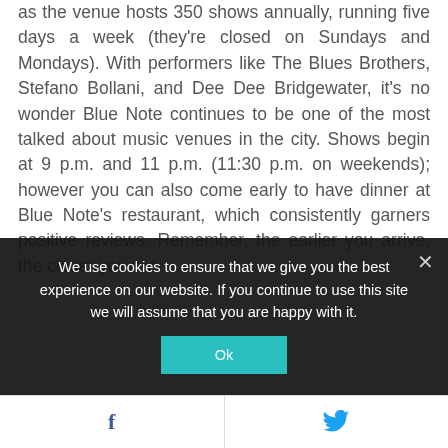as the venue hosts 350 shows annually, running five days a week (they're closed on Sundays and Mondays). With performers like The Blues Brothers, Stefano Bollani, and Dee Dee Bridgewater, it's no wonder Blue Note continues to be one of the most talked about music venues in the city. Shows begin at 9 p.m. and 11 p.m. (11:30 p.m. on weekends); however you can also come early to have dinner at Blue Note's restaurant, which consistently garners positive reviews. Remember, the earlier you arrive, the closer you are
We use cookies to ensure that we give you the best experience on our website. If you continue to use this site we will assume that you are happy with it.